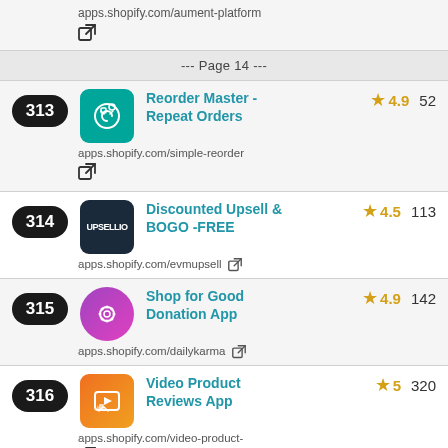apps.shopify.com/aument-platform
↗ (external link icon)
--- Page 14 ---
313 | Reorder Master - Repeat Orders | ★ 4.9 | 52 | apps.shopify.com/simple-reorder
314 | Discounted Upsell & BOGO -FREE | ★ 4.5 | 113 | apps.shopify.com/evmupsell
315 | Shop for Good Donation App | ★ 4.9 | 142 | apps.shopify.com/dailykarma
316 | Video Product Reviews App | ★ 5 | 320 | apps.shopify.com/video-product-